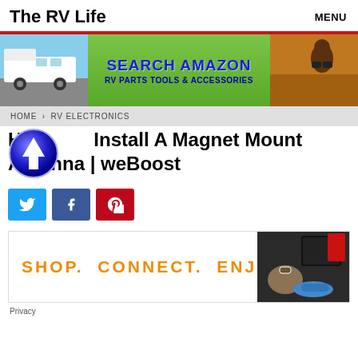The RV Life  MENU
[Figure (infographic): Banner ad: Search Amazon RV Parts Tools & Accessories, with RV photo on left and person with binoculars on right, green background center]
HOME › RV ELECTRONICS
How To Install A Magnet Mount Antenna | weBoost
[Figure (infographic): Social share buttons: Twitter (blue), Facebook (dark blue), Pinterest (red)]
[Figure (infographic): Advertisement banner: SHOP. CONNECT. ENJOY. in orange text with electronics image on right]
Privacy